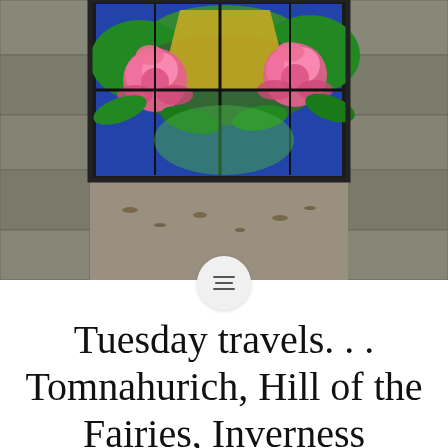[Figure (photo): Stained glass window with pink roses and colorful floral design set into a stone wall, viewed from below. A cemetery gate or chapel window with ornate decorative glass featuring pink roses on a blue and green background.]
Tuesday travels. . . Tomnahurich, Hill of the Fairies, Inverness
Yes it is cemetery gates and you may be asking what this has to do with our travels. Tomnahurich, Hill of the Fairies is